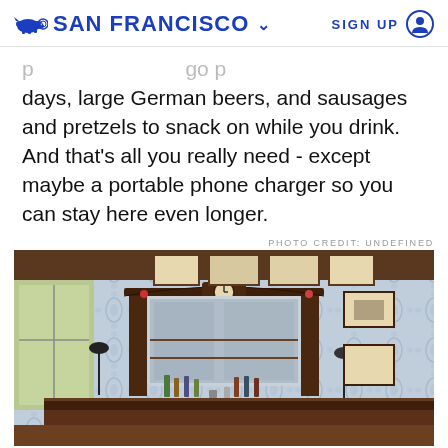SAN FRANCISCO  SIGN UP
days, large German beers, and sausages and pretzels to snack on while you drink. And that’s all you really need - except maybe a portable phone charger so you can stay here even longer.
PHOTO CREDIT: UNDEFINED
[Figure (photo): Interior of a vintage bar with ornate dark wood back bar and mirror, blue and white patterned wallpaper, framed pictures on walls, a clock, bar counter with bottles and glassware, and pendant lamps.]